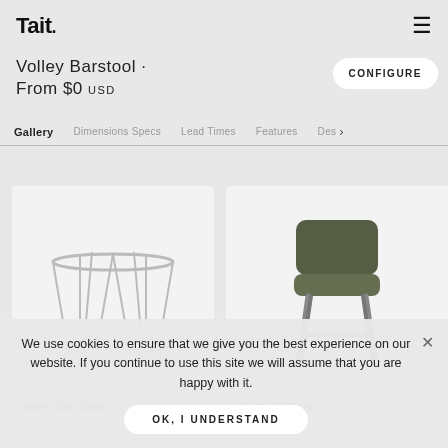Tait.
Volley Barstool · From $0 USD
CONFIGURE
Gallery  Dimensions Specs  Lead Times  Features  Des >
[Figure (photo): Two furniture product photos side by side: left shows a Volley Bar Table (wire frame round bar table in silver/grey), right shows a Seam Barstool (olive/dark green molded seat on black metal legs)]
Volley Bar Table
Seam Barstool
We use cookies to ensure that we give you the best experience on our website. If you continue to use this site we will assume that you are happy with it.
OK, I UNDERSTAND